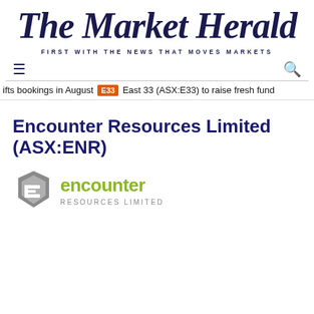The Market Herald
FIRST WITH THE NEWS THAT MOVES MARKETS
≡   🔍
ifts bookings in August  E33  East 33 (ASX:E33) to raise fresh fund
Encounter Resources Limited (ASX:ENR)
[Figure (logo): Encounter Resources Limited logo with stylized E icon in grey and green text]